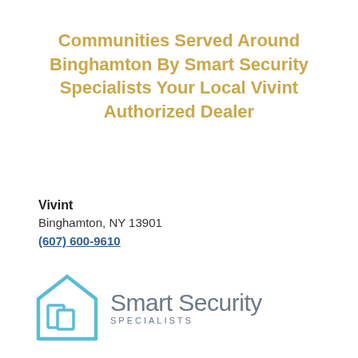Communities Served Around Binghamton By Smart Security Specialists Your Local Vivint Authorized Dealer
Vivint
Binghamton, NY 13901
(607) 600-9610
[Figure (logo): Smart Security Specialists logo — a teal/light-blue house outline with shield/book icon inside, followed by the text 'Smart Security SPECIALISTS']